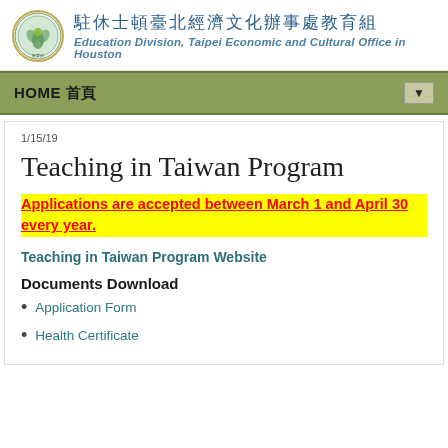駐休士頓臺北經濟文化辦事處教育組 Education Division, Taipei Economic and Cultural Office in Houston
HOME 首頁
1/15/19
Teaching in Taiwan Program
Applications are accepted between March 1 and April 30 every year.
Teaching in Taiwan Program Website
Documents Download
Application Form
Health Certificate